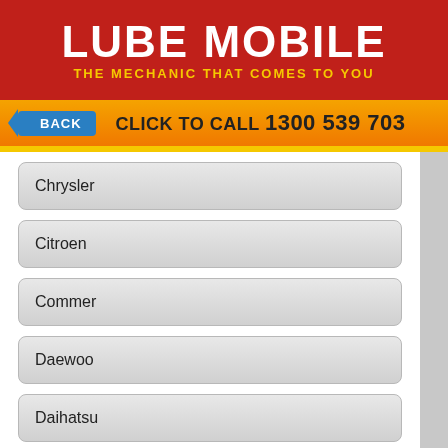LUBE MOBILE
THE MECHANIC THAT COMES TO YOU
BACK   CLICK TO CALL 1300 539 703
Chrysler
Citroen
Commer
Daewoo
Daihatsu
Daimler
Datsun
Dodge